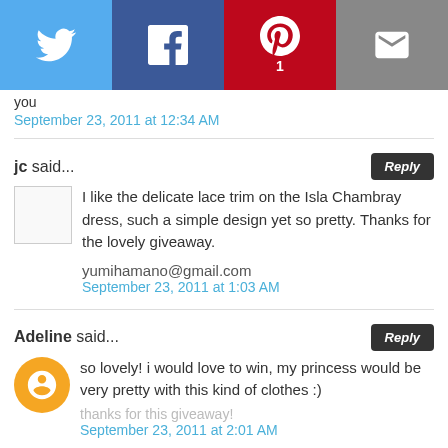[Figure (other): Social share bar with Twitter (blue), Facebook (dark blue), Pinterest (red) with count 1, and Email (grey) buttons]
you
September 23, 2011 at 12:34 AM
jc said...
I like the delicate lace trim on the Isla Chambray dress, such a simple design yet so pretty. Thanks for the lovely giveaway.
yumihamano@gmail.com
September 23, 2011 at 1:03 AM
Adeline said...
so lovely! i would love to win, my princess would be very pretty with this kind of clothes :)
thanks for this giveaway!
September 23, 2011 at 2:01 AM